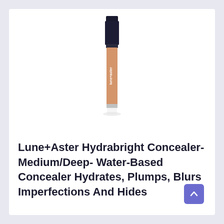[Figure (photo): A concealer tube product by Lune+Aster, showing a long thin tube with a dark navy cap and a peachy/tan colored liquid visible through the clear tube body, with 'lune+aster' text on the label. The tube is photographed against a white background.]
Lune+Aster Hydrabright Concealer- Medium/Deep- Water-Based Concealer Hydrates, Plumps, Blurs Imperfections And Hides